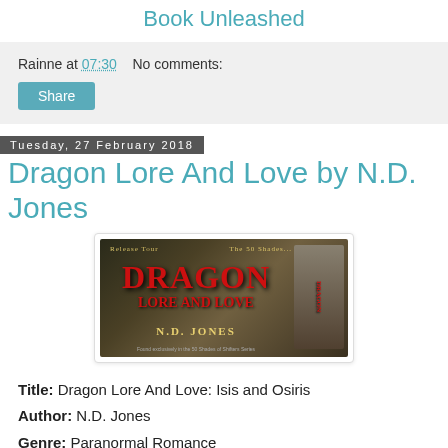Book Unleashed
Rainne at 07:30   No comments:
Share
Tuesday, 27 February 2018
Dragon Lore And Love by N.D. Jones
[Figure (photo): Book release tour banner for Dragon Lore And Love by N.D. Jones, featuring the title in red text over a dark fantasy background with a book cover on the right]
Title: Dragon Lore And Love: Isis and Osiris
Author: N.D. Jones
Genre: Paranormal Romance